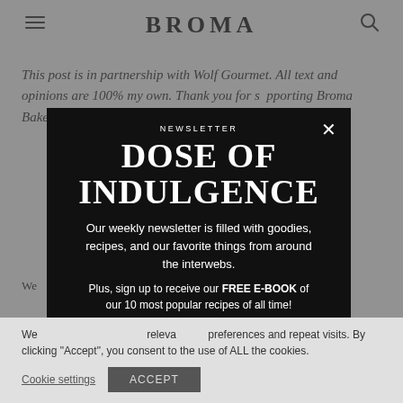BROMA
This post is in partnership with Wolf Gourmet. All text and opinions are 100% my own. Thank you for s[upporting] Broma Bak[ery].
[Figure (screenshot): Newsletter popup modal on dark background with title 'DOSE OF INDULGENCE' and subscription description text]
We [use cookies on our website to give you the mo]st releva[nt experience by remembering your] preferences and repeat visits. By clicking "Accept", you consent to the use of ALL the cookies.